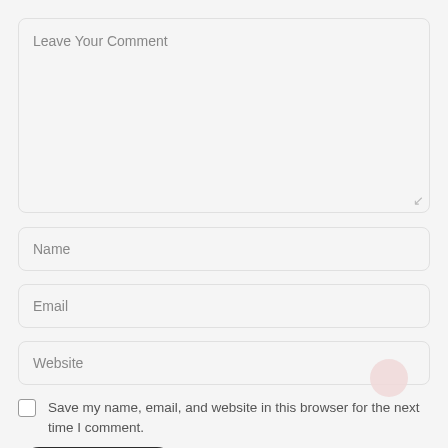Leave Your Comment
Name
Email
Website
Save my name, email, and website in this browser for the next time I comment.